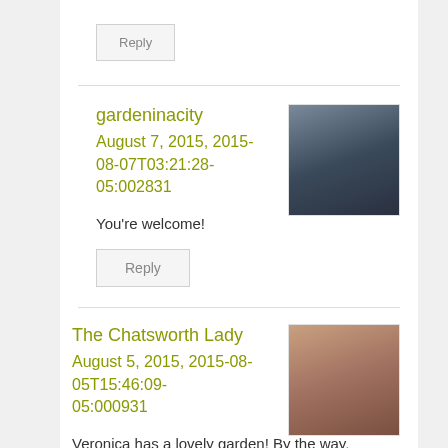Reply
gardeninacity
August 7, 2015, 2015-08-07T03:21:28-05:002831
You're welcome!
Reply
The Chatsworth Lady
August 5, 2015, 2015-08-05T15:46:09-05:000931
Veronica has a lovely garden! By the way, thanks to